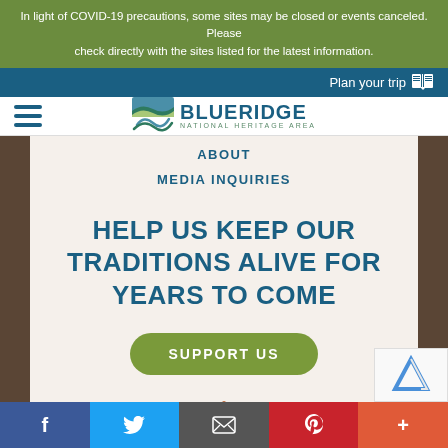In light of COVID-19 precautions, some sites may be closed or events canceled. Please check directly with the sites listed for the latest information.
Plan your trip
[Figure (logo): Blue Ridge National Heritage Area logo with mountain/water graphic and green text]
ABOUT
MEDIA INQUIRIES
HELP US KEEP OUR TRADITIONS ALIVE FOR YEARS TO COME
SUPPORT US
[Figure (logo): National Park Service arrowhead logo]
f  Twitter  Email  Pinterest  +